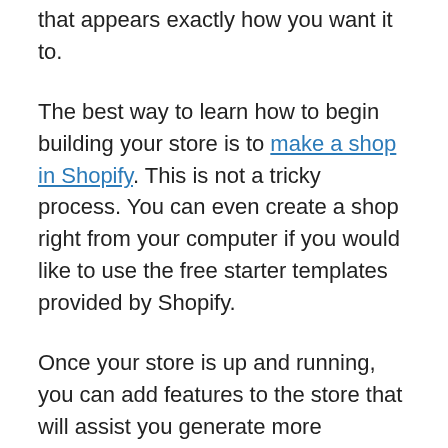that appears exactly how you want it to.
The best way to learn how to begin building your store is to make a shop in Shopify. This is not a tricky process. You can even create a shop right from your computer if you would like to use the free starter templates provided by Shopify.
Once your store is up and running, you can add features to the store that will assist you generate more revenue. Most apps and templates are compatible with any edition of Shopify, so that you can make any changes to your shop.
Creating your own shop is a great way to